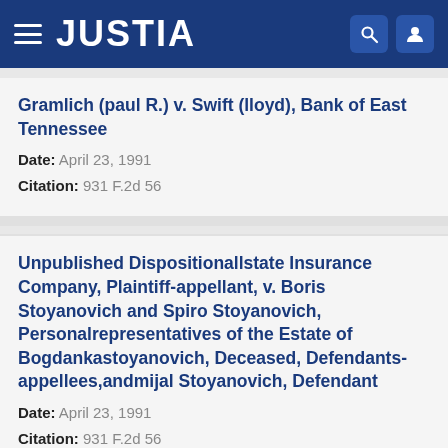JUSTIA
Gramlich (paul R.) v. Swift (lloyd), Bank of East Tennessee
Date: April 23, 1991
Citation: 931 F.2d 56
Unpublished Dispositionallstate Insurance Company, Plaintiff-appellant, v. Boris Stoyanovich and Spiro Stoyanovich, Personalrepresentatives of the Estate of Bogdankastoyanovich, Deceased, Defendants-appellees,andmijal Stoyanovich, Defendant
Date: April 23, 1991
Citation: 931 F.2d 56
Unpublished Dispositionbank of East Tennessee